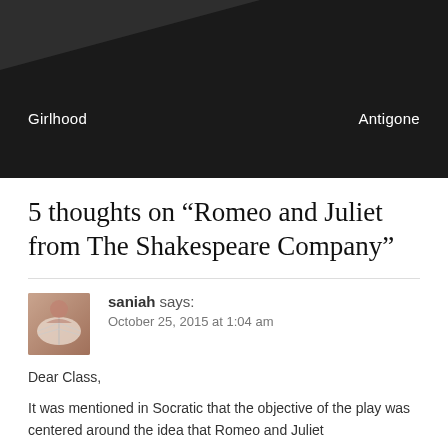Girlhood   Antigone
5 thoughts on “Romeo and Juliet from The Shakespeare Company”
[Figure (photo): Small square avatar/profile photo showing a person reading a book, warm pinkish-brown tones]
saniah says:
October 25, 2015 at 1:04 am
Dear Class,

It was mentioned in Socratic that the objective of the play was centered around the idea that Romeo and Juliet